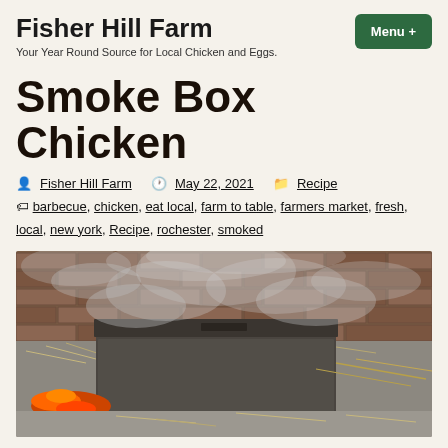Fisher Hill Farm — Your Year Round Source for Local Chicken and Eggs. | Menu +
Smoke Box Chicken
Fisher Hill Farm   May 22, 2021   Recipe
barbecue, chicken, eat local, farm to table, farmers market, fresh, local, new york, Recipe, rochester, smoked
[Figure (photo): Outdoor smoke box/smoker with smoldering wood and embers, bricks in background, heavy smoke rising, orange fire visible at left side.]